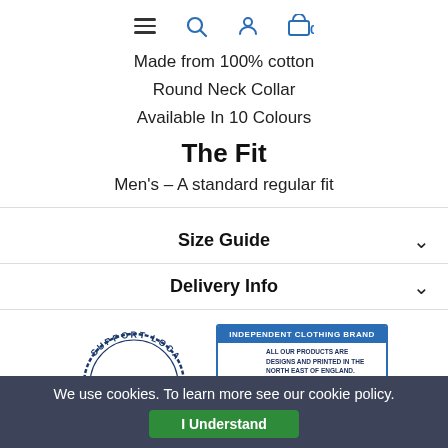Navigation bar with hamburger, search, user, and cart (0) icons
Made from 100% cotton
Round Neck Collar
Available In 10 Colours
The Fit
Men's - A standard regular fit
Size Guide
Delivery Info
[Figure (logo): Circular stamp reading 'Support Local Business' with 'Jesmundo' in center]
[Figure (infographic): Independent Clothing Brand badge card with t-shirt icon and text about products designed and printed in North East of England]
We use cookies. To learn more see our cookie policy.
I Understand